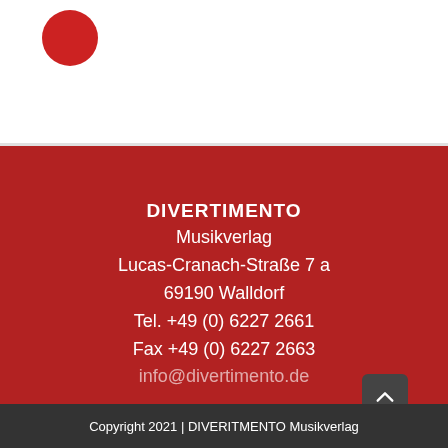[Figure (logo): Red circular logo partially visible in top left corner]
DIVERTIMENTO
Merikverlag
Lucas-Cranach-Straße 7 a
69190 Walldorf
Tel. +49 (0) 6227 2661
Fax +49 (0) 6227 2663
info@divertimento.de
Copyright 2021 | DIVERITMENTO Musikverlag